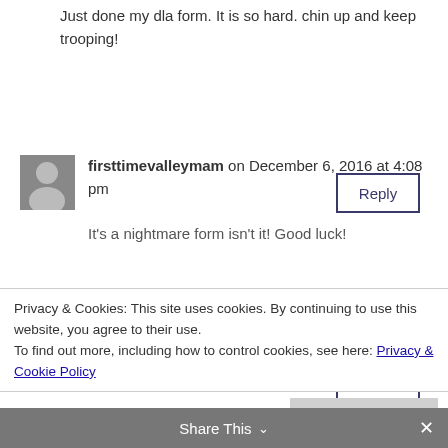Just done my dla form. It is so hard. chin up and keep trooping!
Reply
firsttimevalleymam on December 6, 2016 at 4:08 pm
It's a nightmare form isn't it! Good luck!
Reply
Privacy & Cookies: This site uses cookies. By continuing to use this website, you agree to their use.
To find out more, including how to control cookies, see here: Privacy & Cookie Policy
Close and accept
Share This